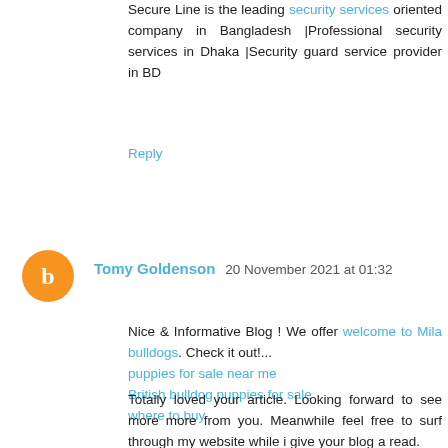Secure Line is the leading security services oriented company in Bangladesh |Professional security services in Dhaka |Security guard service provider in BD
Reply
[Figure (illustration): Orange circular avatar with white letter B (Blogger icon)]
Tomy Goldenson 20 November 2021 at 01:32
Nice & Informative Blog ! We offer welcome to Mila bulldogs. Check it out!... puppies for sale near me British bulldog puppies for sale where to buy
Totally loved your article. Looking forward to see more more from you. Meanwhile feel free to surf through my website while i give your blog a read. welcome to Newsome frenchies where to buy french bulldog puppies frenchies bulldog puppies